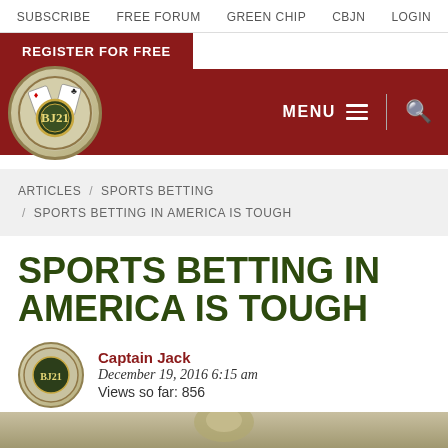SUBSCRIBE   FREE FORUM   GREEN CHIP   CBJN   LOGIN
REGISTER FOR FREE
[Figure (logo): BJ21 blackjack website logo — circular emblem with playing cards and poker chip, text BJ21]
MENU
ARTICLES / SPORTS BETTING / SPORTS BETTING IN AMERICA IS TOUGH
SPORTS BETTING IN AMERICA IS TOUGH
Captain Jack
December 19, 2016 6:15 am
Views so far: 856